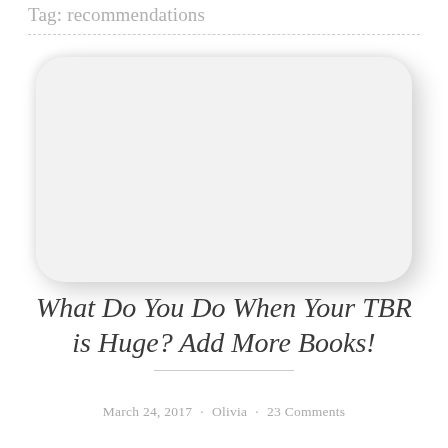Tag: recommendations
[Figure (other): Placeholder image block with rounded corners and light gray background, representing a blog post thumbnail image]
What Do You Do When Your TBR is Huge? Add More Books!
March 24, 2017 · Olivia · 23 Comments